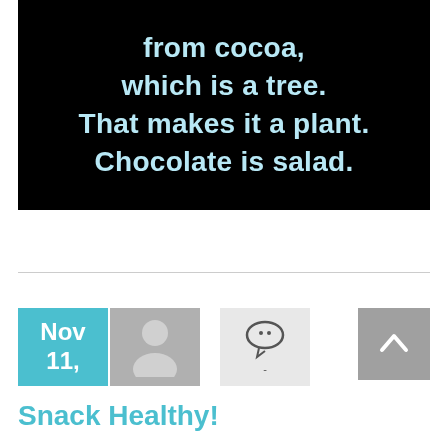[Figure (photo): Black background image with light blue bold text reading: 'from cocoa, which is a tree. That makes it a plant. Chocolate is salad.']
Nov 11,
[Figure (illustration): Gray avatar/person silhouette icon on gray background]
[Figure (illustration): Comment speech bubble icon on light gray background with small dash below]
[Figure (illustration): Gray back-to-top button with upward chevron arrow]
Snack Healthy!